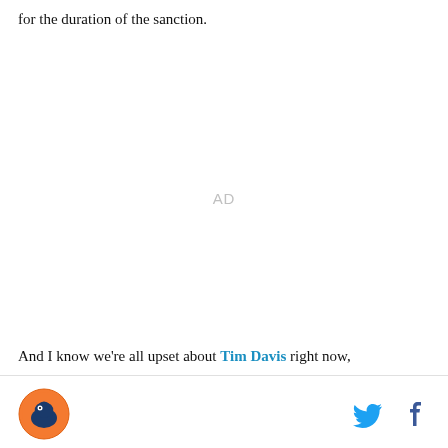for the duration of the sanction.
[Figure (other): Advertisement placeholder showing 'AD' text in gray]
And I know we're all upset about Tim Davis right now,
Site logo, Twitter icon, Facebook icon